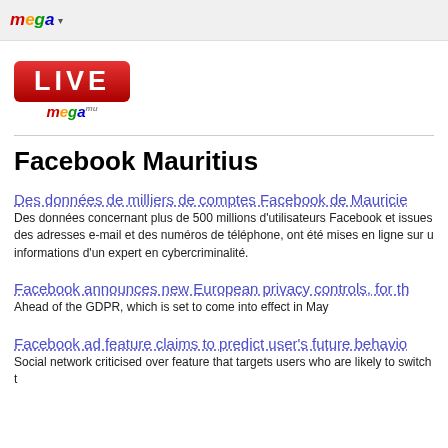mega (logo nav bar)
[Figure (logo): LIVE mega logo — red rounded rectangle with white LIVE text, mega wordmark below in multicolor]
Facebook Mauritius
Des données de milliers de comptes Facebook de Mauricie
Des données concernant plus de 500 millions d'utilisateurs Facebook et issues des adresses e-mail et des numéros de téléphone, ont été mises en ligne sur u informations d'un expert en cybercriminalité.
Facebook announces new European privacy controls, for th
Ahead of the GDPR, which is set to come into effect in May
Facebook ad feature claims to predict user's future behavio
Social network criticised over feature that targets users who are likely to switch t